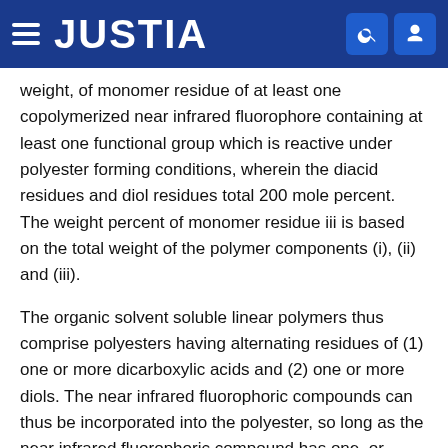JUSTIA
weight, of monomer residue of at least one copolymerized near infrared fluorophore containing at least one functional group which is reactive under polyester forming conditions, wherein the diacid residues and diol residues total 200 mole percent. The weight percent of monomer residue iii is based on the total weight of the polymer components (i), (ii) and (iii).
The organic solvent soluble linear polymers thus comprise polyesters having alternating residues of (1) one or more dicarboxylic acids and (2) one or more diols. The near infrared fluorophoric compounds can thus be incorporated into the polyester, so long as the near infrared fluorophoric compound has one, or preferably two, polyester reactive groups (e.g., hydroxy, carboxy, etc.) present.
The residues of component (i) may be derived from one